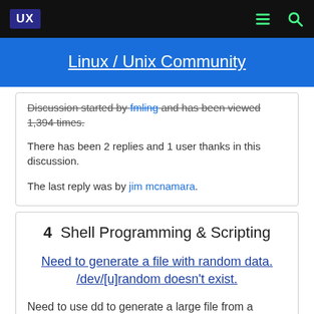UX  [menu] [search]
Linux / Unix Community
Discussion started by fmling and has been viewed 1,394 times.
There has been 2 replies and 1 user thanks in this discussion.
The last reply was by jim mcnamara.
4  Shell Programming & Scripting
Need to generate a file with random data. /dev/[u]random doesn't exist.
Need to use dd to generate a large file from a sample file of random data. This is